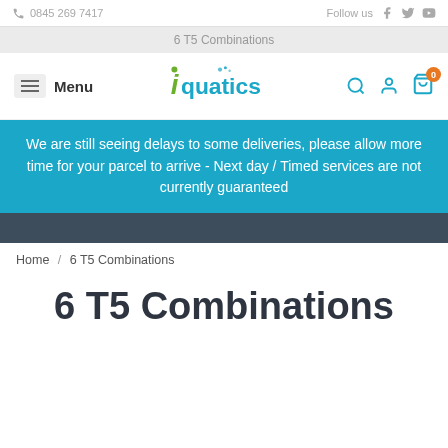📞 0845 269 7417   Follow us
6 T5 Combinations
[Figure (logo): iQuatics logo with menu button and nav icons (search, account, cart with 0 badge)]
We are still seeing delays to some deliveries, please allow more time for your parcel to arrive - Next day / Timed services are not currently guaranteed
Home / 6 T5 Combinations
6 T5 Combinations